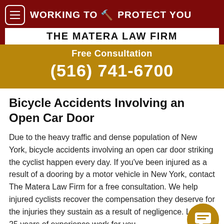WORKING TO PROTECT YOU
THE MATERA LAW FIRM
Free Consultation
(516) 741-6700
Bicycle Accidents Involving an Open Car Door
Due to the heavy traffic and dense population of New York, bicycle accidents involving an open car door striking the cyclist happen every day. If you've been injured as a result of a dooring by a motor vehicle in New York, contact The Matera Law Firm for a free consultation. We help injured cyclists recover the compensation they deserve for the injuries they sustain as a result of negligence. Let our 25 years of experience work for you.